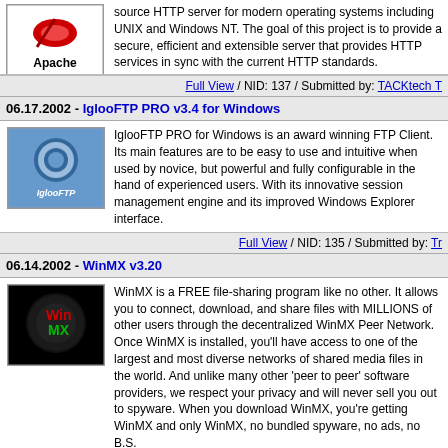source HTTP server for modern operating systems including UNIX and Windows NT. The goal of this project is to provide a secure, efficient and extensible server that provides HTTP services in sync with the current HTTP standards.
Full View / NID: 137 / Submitted by: TACKtech T
06.17.2002 - IglooFTP PRO v3.4 for Windows
IglooFTP PRO for Windows is an award winning FTP Client. Its main features are to be easy to use and intuitive when used by novice, but powerful and fully configurable in the hand of experienced users. With its innovative session management engine and its improved Windows Explorer interface.
Full View / NID: 135 / Submitted by: Tr
06.14.2002 - WinMX v3.20
WinMX is a FREE file-sharing program like no other. It allows you to connect, download, and share files with MILLIONS of other users through the decentralized WinMX Peer Network. Once WinMX is installed, you'll have access to one of the largest and most diverse networks of shared media files in the world. And unlike many other 'peer to peer' software providers, we respect your privacy and will never sell you out to spyware. When you download WinMX, you're getting WinMX and only WinMX, no bundled spyware, no ads, no B.S.
Full View / NID: 133 / Submitted by: TACKtech T
06.11.2002 - Apache Group: Apache HTTP Server 2.0.39
The Apache HTTP Server Project is an effort to develop and maintain an open source HTTP server for modern operating systems including UNIX and Windows NT. The goal of this project is to provide a secure, efficient and extensible server that provides HTTP services in sync with the current HTTP standards.
Full View / NID: 130 / Submitted by: TACKtech T
05.21.2002 - MS02-023: May 2002 Cumulative Patch for Internet Explorer (Q321232)
This update eliminates all previously addressed security vulnerabilities, as well as any newly discovered vulnerabilities affecting Internet Explorer. Download now to protect your computer from these vulnerabilities. The new patch is available...